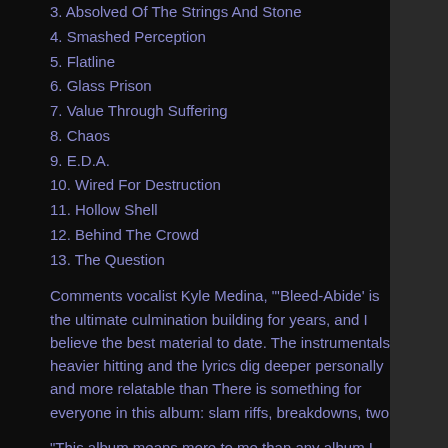3. Absolved Of The Strings And Stone
4. Smashed Perception
5. Flatline
6. Glass Prison
7. Value Through Suffering
8. Chaos
9. E.D.A.
10. Wired For Destruction
11. Hollow Shell
12. Behind The Crowd
13. The Question
Comments vocalist Kyle Medina, "'Bleed-Abide' is the ultimate culmination building for years, and I believe the best material to date. The instrumentals heavier hitting and the lyrics dig deeper personally and more relatable than There is something for everyone in this album: slam riffs, breakdowns, two
"This album means more to me than any album I have ever been involved Whited. “We all love [last album] 'This Heavy Void,' but we weren't the well- now. We know exactly how we all write together and what we are capable of shows it. Every one of us put hours upon hours into this album throughout come together as one cohesive piece is amazing. I'm so proud of my broth always wanted to put out." More...